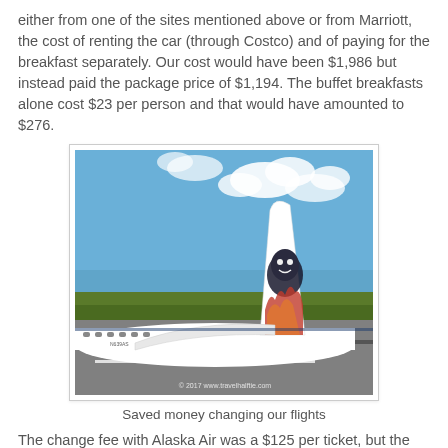either from one of the sites mentioned above or from Marriott, the cost of renting the car (through Costco) and of paying for the breakfast separately. Our cost would have been $1,986 but instead paid the package price of $1,194. The buffet breakfasts alone cost $23 per person and that would have amounted to $276.
[Figure (photo): Alaska Airlines airplane tail fin showing the Alaska Native face logo, photographed on a runway with blue sky, clouds, and green landscape in background. Watermark reads '© 2017 www.travelhalftie.com']
Saved money changing our flights
The change fee with Alaska Air was a $125 per ticket, but the fare to Kauai was less than that we'd paid to Honolulu, so